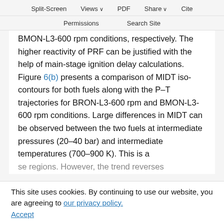Split-Screen  Views  PDF  Share  Cite
Permissions  Search Site
BMON-L3-600 rpm conditions, respectively. The higher reactivity of PRF can be justified with the help of main-stage ignition delay calculations. Figure 6(b) presents a comparison of MIDT iso-contours for both fuels along with the P–T trajectories for BRON-L3-600 rpm and BMON-L3-600 rpm conditions. Large differences in MIDT can be observed between the two fuels at intermediate pressures (20–40 bar) and intermediate temperatures (700–900 K). This is a
This site uses cookies. By continuing to use our website, you are agreeing to our privacy policy. Accept
se regions. However, the trend reverses